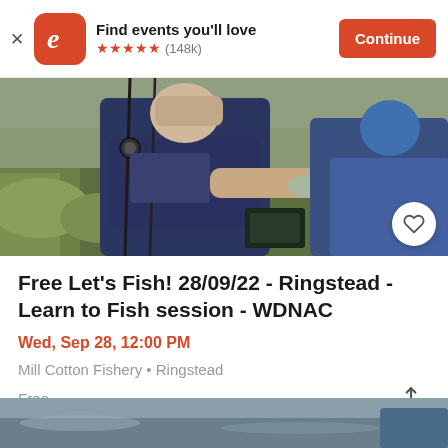Find events you'll love — ★★★★★ (148k) — Continue
[Figure (photo): Photo of a young person holding a fish at a fishing session outdoors, with fishing equipment visible and grass in background. Heart/favorite icon button in bottom right corner.]
Free Let's Fish! 28/09/22 - Ringstead - Learn to Fish session - WDNAC
Wed, Sep 28, 12:00 PM
Mill Cotton Fishery • Ringstead
Free
[Figure (photo): Partial view of another photo at the bottom of the page, showing water or ground scene.]